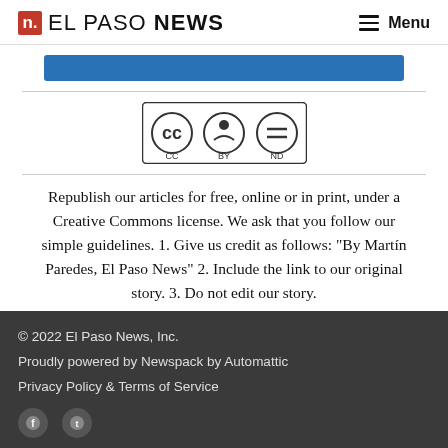EL PASO NEWS — Menu
[Figure (other): Blue button/bar element]
[Figure (other): Creative Commons BY-ND license badge]
Republish our articles for free, online or in print, under a Creative Commons license. We ask that you follow our simple guidelines. 1. Give us credit as follows: "By Martín Paredes, El Paso News" 2. Include the link to our original story. 3. Do not edit our story.
© 2022 El Paso News, Inc.
Proudly powered by Newspack by Automattic
Privacy Policy & Terms of Service